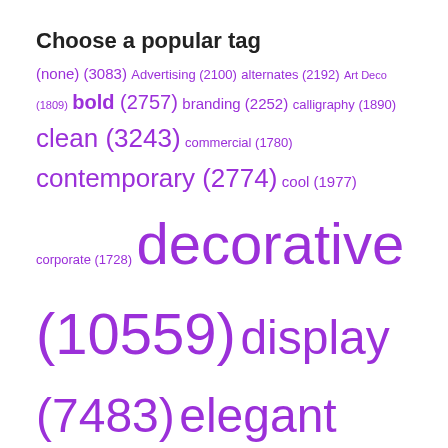Choose a popular tag
(none) (3083) Advertising (2100) alternates (2192) Art Deco (1809) bold (2757) branding (2252) calligraphy (1890) clean (3243) commercial (1780) contemporary (2774) cool (1977) corporate (1728) decorative (10559) display (7483) elegant (4324) friendly (1956) fun (1903) funny (3044) geometric (3799) handwriting (3118) handwritten (2095) headline (7215) heavy (2666) informal (3497) invitation (2217) legible (5223) lettering (1889) ligatures (2020) logo (3403) magazine (5159) modern (5007)